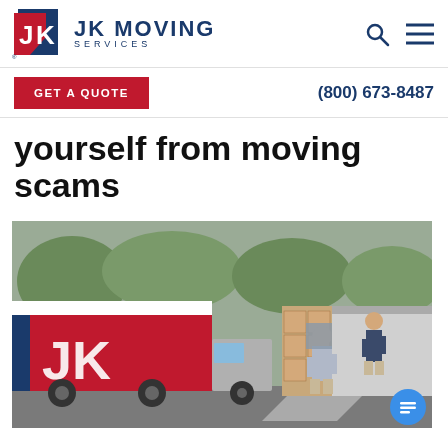JK MOVING SERVICES
GET A QUOTE   (800) 673-8487
yourself from moving scams
[Figure (photo): Two movers carrying items up a ramp into a JK Moving truck. One mover carries boxes on his back walking up the ramp, the other stands inside the truck loading boxes.]